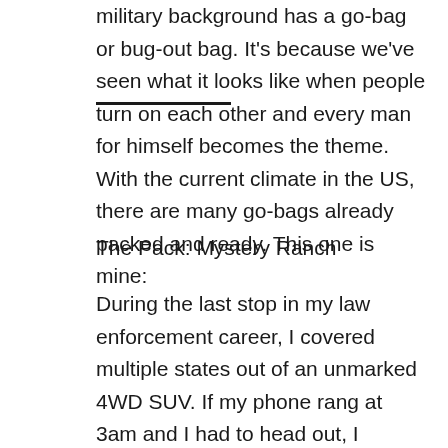military background has a go-bag or bug-out bag. It's because we've seen what it looks like when people turn on each other and every man for himself becomes the theme. With the current climate in the US, there are many go-bags already packed and ready. This one is mine:
The Pack: Mystery Ranch
During the last stop in my law enforcement career, I covered multiple states out of an unmarked 4WD SUV. If my phone rang at 3am and I had to head out, I usually didn't even have time to shower first. Because of this I always kept a pack in my vehicle with a change of clothes, food, extra ammo and a few other pieces of kit...until it was stolen. That's when one of my best friends of over 34 years gave me my first Mystery Ranch backpack. He owns an outfitter shop and he insisted on giving me, "the best pack you can get, bro." He was right.